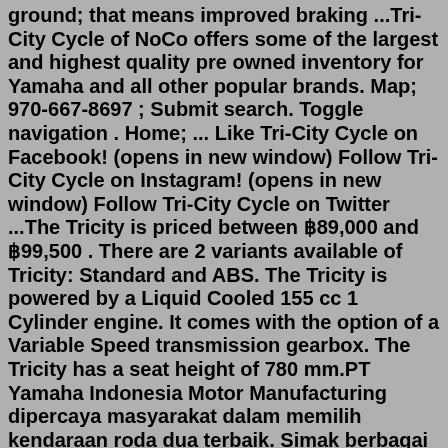ground; that means improved braking ...Tri-City Cycle of NoCo offers some of the largest and highest quality pre owned inventory for Yamaha and all other popular brands. Map; 970-667-8697 ; Submit search. Toggle navigation . Home; ... Like Tri-City Cycle on Facebook! (opens in new window) Follow Tri-City Cycle on Instagram! (opens in new window) Follow Tri-City Cycle on Twitter ...The Tricity is priced between ฿89,000 and ฿99,500 . There are 2 variants available of Tricity: Standard and ABS. The Tricity is powered by a Liquid Cooled 155 cc 1 Cylinder engine. It comes with the option of a Variable Speed transmission gearbox. The Tricity has a seat height of 780 mm.PT Yamaha Indonesia Motor Manufacturing dipercaya masyarakat dalam memilih kendaraan roda dua terbaik. Simak berbagai info produk dan updatenya di sini.Motorcycles / Yamaha / Yamaha TriCity / 125-400cc / 2021 / 2022 / Commuting / Stories / Scooters / Trikes. Motorcycles. Home/latest News Reviews Photos Videos Manufacturers Vehicle types Topics ... Check out the latest 125-400cc